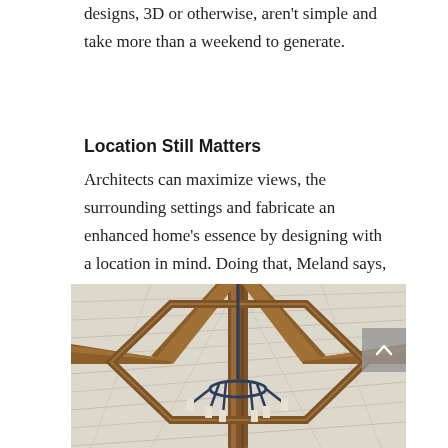designs, 3D or otherwise, aren't simple and take more than a weekend to generate.
Location Still Matters
Architects can maximize views, the surrounding settings and fabricate an enhanced home's essence by designing with a location in mind. Doing that, Meland says, is where architects really shine.
[Figure (photo): Interior photo looking up at a vaulted wooden beam ceiling with an octagonal frame and a wrought iron chandelier with candle-style lights. The ceiling has white-washed wooden planks and prominent brown wooden beams forming an octagonal shape around a center point where the chandelier hangs.]